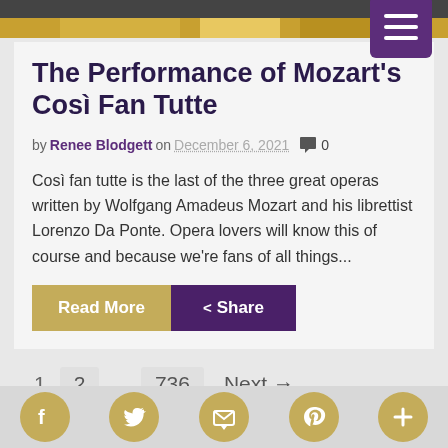[Figure (photo): Top banner image with golden/tan colors and dark strip at top, with purple hamburger menu button in upper right]
The Performance of Mozart's Così Fan Tutte
by Renee Blodgett on December 6, 2021 💬 0
Così fan tutte is the last of the three great operas written by Wolfgang Amadeus Mozart and his librettist Lorenzo Da Ponte. Opera lovers will know this of course and because we're fans of all things...
Read More   < Share
1  2  ...  736  Next →
[Figure (infographic): Social media icon bar with Facebook, Twitter, Email, Pinterest, and Plus icons in gold circles]